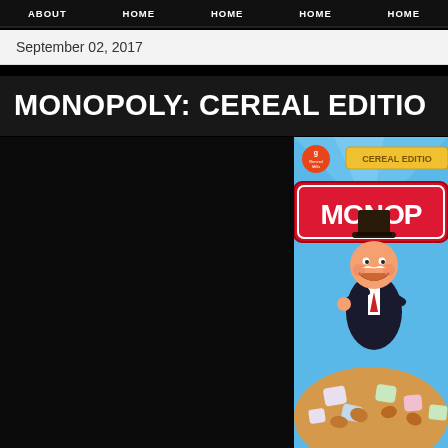ABOUT | HOME | HOME | HOME | HOME
September 02, 2017
MONOPOLY: CEREAL EDITION
[Figure (photo): Monopoly Cereal Edition box by General Mills, showing the Monopoly Man mascot with a top hat, colorful marshmallow pieces resembling Monopoly game tokens, and CEREAL EDITION banner. Partially cropped on right side.]